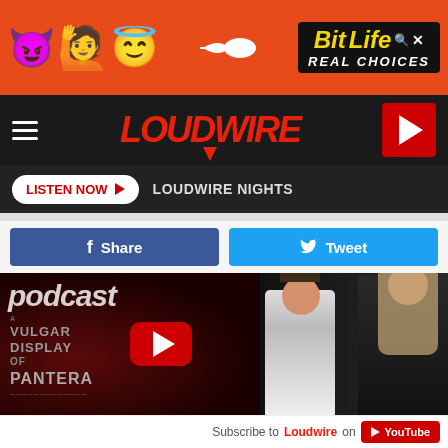[Figure (screenshot): BitLife advertisement banner with emoji characters (devil, person, angel) and BitLife logo with 'Real Choices' text on dark background]
[Figure (logo): Loudwire website navigation bar with hamburger menu, red Loudwire logo, and red play button]
LISTEN NOW  LOUDWIRE NIGHTS
[Figure (screenshot): Facebook Share button (blue) and Twitter Tweet button (light blue) side by side]
[Figure (screenshot): Video thumbnail showing 'podcast' text overlay, 'A Vulgar Display of Pantera' text, YouTube play button, and two people posing]
Subscribe to Loudwire on  YouTube